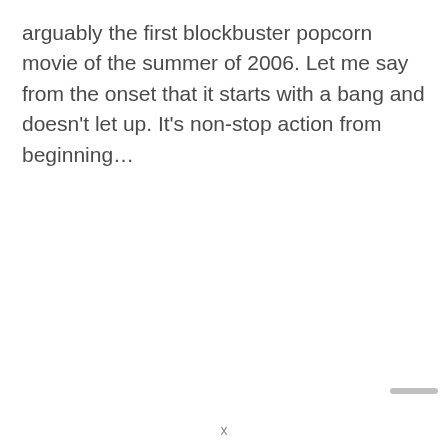arguably the first blockbuster popcorn movie of the summer of 2006. Let me say from the onset that it starts with a bang and doesn't let up. It's non-stop action from beginning…